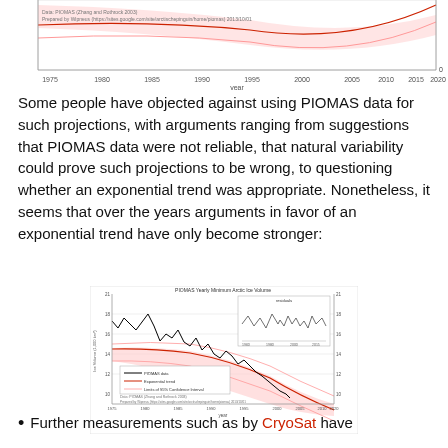[Figure (continuous-plot): Top portion of a PIOMAS Arctic ice volume chart showing historical data from 1975 to 2020 with exponential trend lines, confidence intervals, and projection into the future. The chart is partially cropped at the top showing only the lower portion with x-axis labels from 1975 to 2020.]
Some people have objected against using PIOMAS data for such projections, with arguments ranging from suggestions that PIOMAS data were not reliable, that natural variability could prove such projections to be wrong, to questioning whether an exponential trend was appropriate. Nonetheless, it seems that over the years arguments in favor of an exponential trend have only become stronger:
[Figure (continuous-plot): PIOMAS Yearly Minimum Arctic Ice Volume chart showing declining ice volume from 1975 to 2020 with an exponential trend curve (red), 95% confidence intervals (pink shading), and an inset showing residuals. The black line shows measured PIOMAS data, the red curve shows the exponential trend, and light red curves show the limits of the 95% Confidence Interval. Data from PIOMAS (Zhang and Rothrock 2003).]
Further measurements such as by CryoSat have